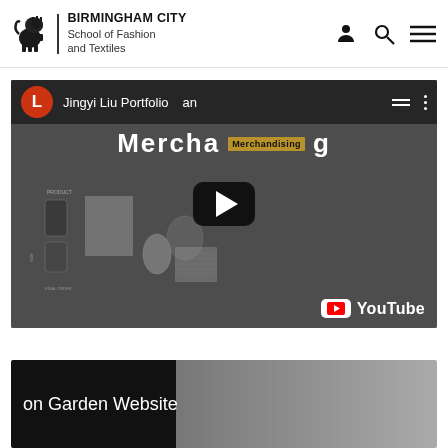BIRMINGHAM CITY School of Fashion and Textiles
[Figure (screenshot): YouTube video thumbnail showing 'Jingyi Liu Portfolio' with title 'Merchandising' and play button, with YouTube branding logo]
[Figure (screenshot): Partial YouTube video thumbnail showing 'on Garden Website' text with dark background on left and grey gradient on right]